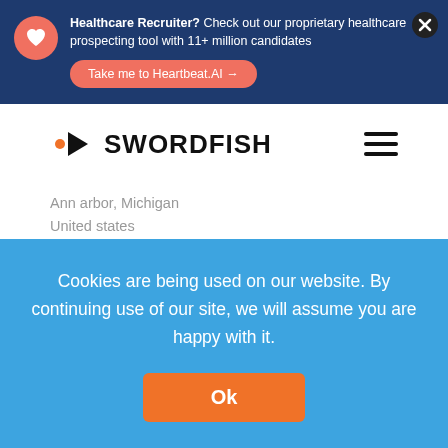Healthcare Recruiter? Check out our proprietary healthcare prospecting tool with 11+ million candidates
Take me to Heartbeat.AI →
[Figure (logo): Swordfish logo with arrow chevron icon and bold text SWORDFISH]
Ann arbor, Michigan
United states
Attended from: 2004 to 2008
Cookies are being used on our website. By continuing use of our site, we will assume you are happy with it.
Ok